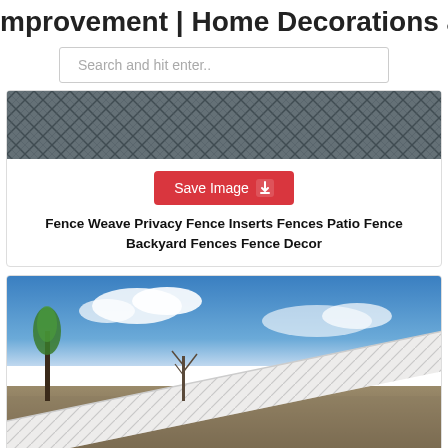mprovement | Home Decorations and
Search and hit enter..
[Figure (photo): Close-up of a chain-link fence weave pattern, dark metallic color]
Save Image
Fence Weave Privacy Fence Inserts Fences Patio Fence Backyard Fences Fence Decor
[Figure (photo): Outdoor photo of a white privacy fence with diagonal weave pattern, trees and blue sky in background, gravel/rock landscaping in foreground]